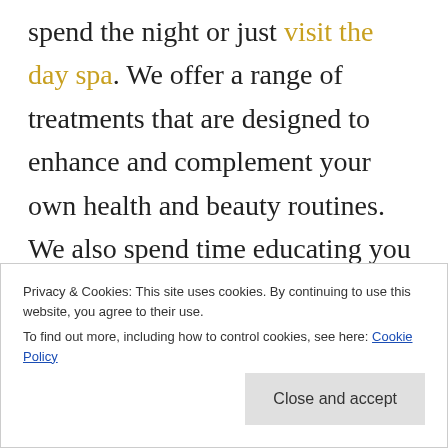spend the night or just visit the day spa. We offer a range of treatments that are designed to enhance and complement your own health and beauty routines. We also spend time educating you on what your regimen should involve and what nutrients are important.

One nutrient we highlight is vitamin C. It is vital to your body in many ways and is important for
Privacy & Cookies: This site uses cookies. By continuing to use this website, you agree to their use.
To find out more, including how to control cookies, see here: Cookie Policy